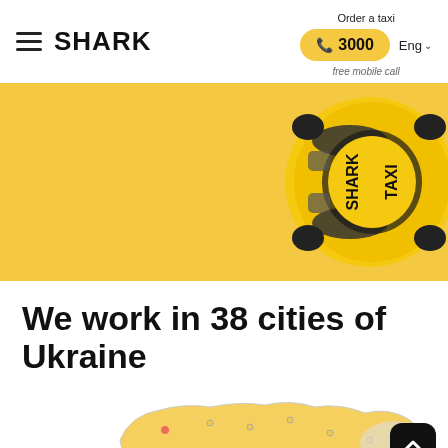SHARK — Order a taxi | ☎ 3000 | free mobile call | Eng
[Figure (photo): Yellow taxi car viewed from above with 'SHARK TAXI' text on roof, on a yellow background banner]
We work in 38 cities of Ukraine
[Figure (map): Partial map of Ukraine with yellow highlighted regions showing cities where Shark Taxi operates, with a scroll-to-top button in the bottom right corner]